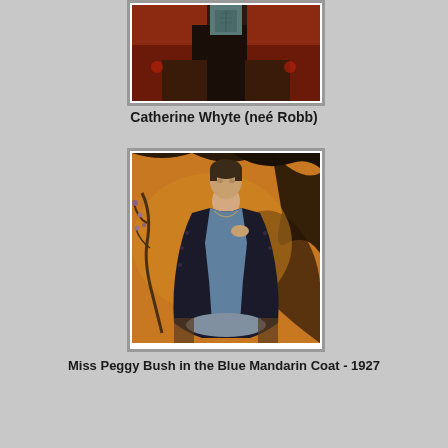[Figure (photo): Cropped painting showing two figures in red/orange garments with dark background, hands visible at bottom — portrait fragment of Catherine Whyte (neé Robb)]
Catherine Whyte (neé Robb)
[Figure (photo): Painting of a young woman wearing a dark blue mandarin coat over a light blue dress, seated against an amber and dark background with floral branch — Miss Peggy Bush in the Blue Mandarin Coat - 1927]
Miss Peggy Bush in the Blue Mandarin Coat - 1927